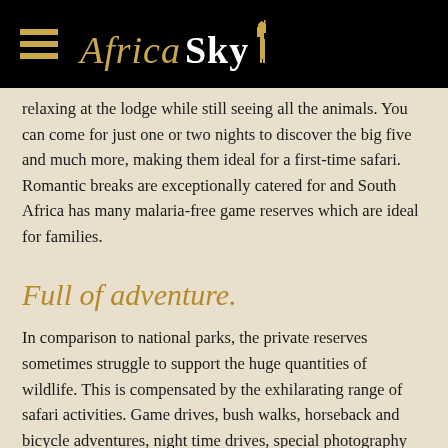[Figure (logo): Africa Sky logo with hamburger menu icon on black header bar]
relaxing at the lodge while still seeing all the animals. You can come for just one or two nights to discover the big five and much more, making them ideal for a first-time safari. Romantic breaks are exceptionally catered for and South Africa has many malaria-free game reserves which are ideal for families.
Full of adventure.
In comparison to national parks, the private reserves sometimes struggle to support the huge quantities of wildlife. This is compensated by the exhilarating range of safari activities. Game drives, bush walks, horseback and bicycle adventures, night time drives, special photography hides...we love visiting a private game